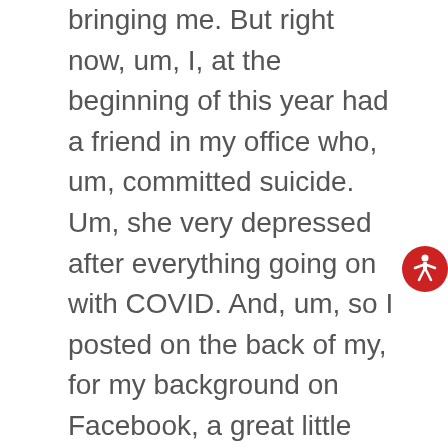bringing me. But right now, um, I, at the beginning of this year had a friend in my office who, um, committed suicide. Um, she very depressed after everything going on with COVID. And, um, so I posted on the back of my, for my background on Facebook, a great little Winnie, the Pooh, you know, Christopher, Robin item, basically saying how important you are, that one post, my background has been shared over 600 times. Wow. Yeah. And now all these people sharing it saying, as you guys know, I love you too. And so I was kind of surprised because I might who keep sharing things. And I think a lot of it was other realtors, but, um, it's, it was just so poignant and the comments that I got that I realized you do make a difference, no matter
[Figure (other): Red circular accessibility icon button with white wheelchair/person symbol]